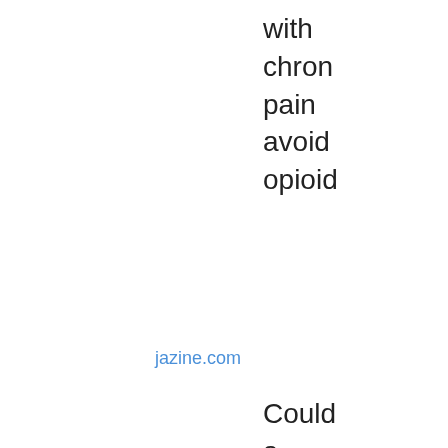with chron pain avoid opioid
jazine.com
Could a new AI tool help predic epilep in childr leadin to